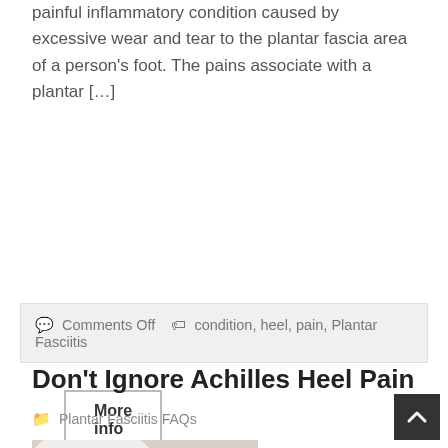painful inflammatory condition caused by excessive wear and tear to the plantar fascia area of a person's foot. The pains associate with a plantar […]
More info
💬 Comments Off  🏷 condition, heel, pain, Plantar Fasciitis
Don't Ignore Achilles Heel Pain
Plantar Fasciitis FAQs
[Figure (photo): Person holding their foot/ankle area, demonstrating heel or Achilles area pain]